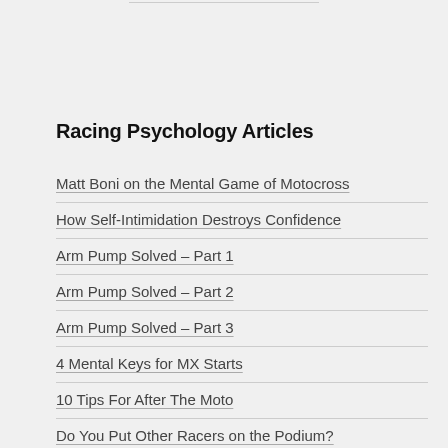Racing Psychology Articles
Matt Boni on the Mental Game of Motocross
How Self-Intimidation Destroys Confidence
Arm Pump Solved – Part 1
Arm Pump Solved – Part 2
Arm Pump Solved – Part 3
4 Mental Keys for MX Starts
10 Tips For After The Moto
Do You Put Other Racers on the Podium?